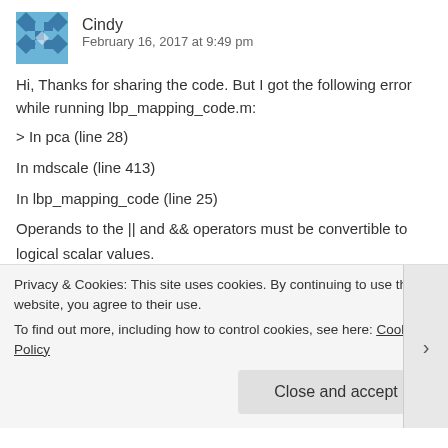Cindy
February 16, 2017 at 9:49 pm
Hi, Thanks for sharing the code. But I got the following error while running lbp_mapping_code.m:
> In pca (line 28)
In mdscale (line 413)
In lbp_mapping_code (line 25)
Operands to the || and && operators must be convertible to logical scalar values.

Error in pca (line 55)
Privacy & Cookies: This site uses cookies. By continuing to use this website, you agree to their use.
To find out more, including how to control cookies, see here: Cookie Policy
Close and accept